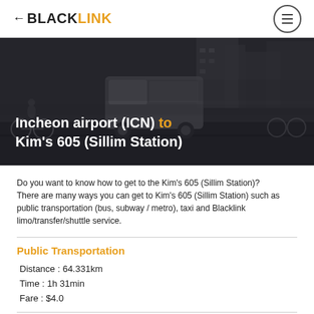BLACKLINK
[Figure (photo): Dark monochrome street scene with a van/bus and bicycles, used as hero background image]
Incheon airport (ICN) to Kim's 605 (Sillim Station)
Do you want to know how to get to the Kim's 605 (Sillim Station)? There are many ways you can get to Kim's 605 (Sillim Station) such as public transportation (bus, subway / metro), taxi and Blacklink limo/transfer/shuttle service.
Public Transportation
Distance : 64.331km
Time : 1h 31min
Fare : $4.0